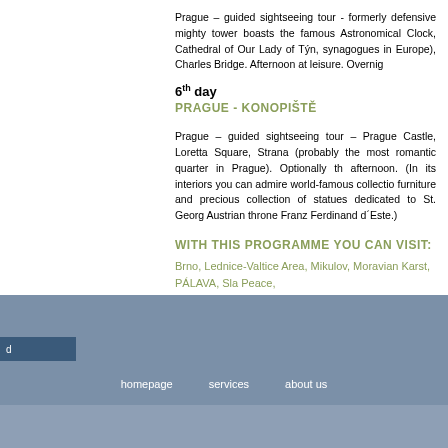Prague – guided sightseeing tour - formerly defensive mighty tower boasts the famous Astronomical Clock, Cathedral of Our Lady of Týn, synagogues in Europe), Charles Bridge. Afternoon at leisure. Overnig
6th day
PRAGUE - KONOPIŠTĚ
Prague – guided sightseeing tour – Prague Castle, Loretta Square, Strana (probably the most romantic quarter in Prague). Optionally th afternoon. (In its interiors you can admire world-famous collectio furniture and precious collection of statues dedicated to St. Georg Austrian throne Franz Ferdinand d´Este.)
WITH THIS PROGRAMME YOU CAN VISIT:
Brno, Lednice-Valtice Area, Mikulov, Moravian Karst, PÁLAVA, Sla Peace,
homepage   services   about us